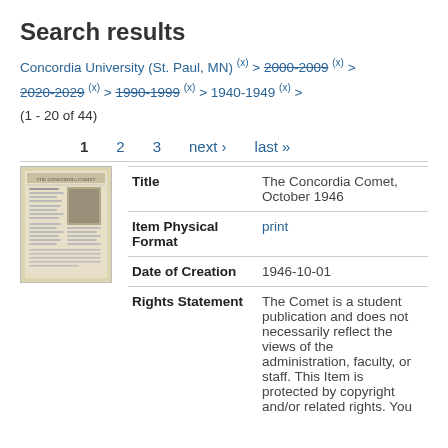Search results
Concordia University (St. Paul, MN) (x) > 2000-2009 (x) > 2020-2029 (x) > 1990-1999 (x) > 1940-1949 (x) > (1 - 20 of 44)
1   2   3   next ›   last »
[Figure (photo): Thumbnail image of The Concordia Comet newspaper front page]
| Field | Value |
| --- | --- |
| Title | The Concordia Comet, October 1946 |
| Item Physical Format | print |
| Date of Creation | 1946-10-01 |
| Rights Statement | The Comet is a student publication and does not necessarily reflect the views of the administration, faculty, or staff. This Item is protected by copyright and/or related rights. You |